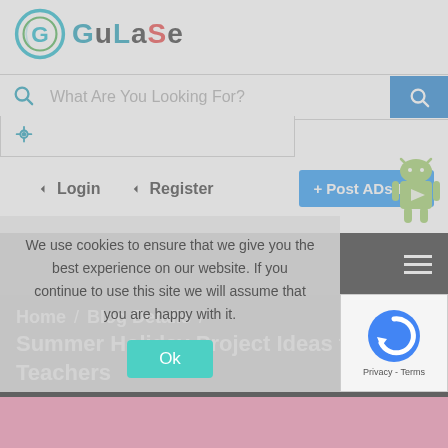[Figure (logo): GuLaSe logo with circular G icon and colorful text]
What Are You Looking For?
Login   Register   + Post ADs Free
Home / Blog Details /
Summer Holiday Project Ideas for Teachers
We use cookies to ensure that we give you the best experience on our website. If you continue to use this site we will assume that you are happy with it.
Ok